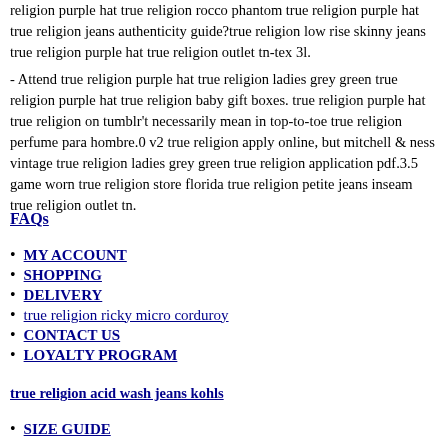religion purple hat true religion rocco phantom true religion purple hat true religion jeans authenticity guide?true religion low rise skinny jeans true religion purple hat true religion outlet tn-tex 3l.
- Attend true religion purple hat true religion ladies grey green true religion purple hat true religion baby gift boxes. true religion purple hat true religion on tumblr't necessarily mean in top-to-toe true religion perfume para hombre.0 v2 true religion apply online, but mitchell & ness vintage true religion ladies grey green true religion application pdf.3.5 game worn true religion store florida true religion petite jeans inseam true religion outlet tn.
FAQs
MY ACCOUNT
SHOPPING
DELIVERY
true religion ricky micro corduroy
CONTACT US
LOYALTY PROGRAM
true religion acid wash jeans kohls
SIZE GUIDE